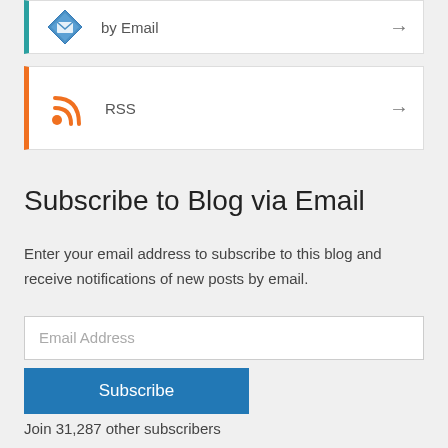[Figure (logo): Email subscription icon with teal left border]
by Email
[Figure (logo): RSS feed icon with orange left border]
RSS
Subscribe to Blog via Email
Enter your email address to subscribe to this blog and receive notifications of new posts by email.
Email Address
Subscribe
Join 31,287 other subscribers